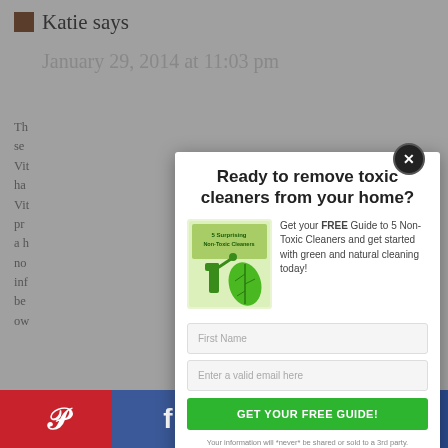Katie says
January 29, 2014 at 11:03 pm
Ready to remove toxic cleaners from your home?
Get your FREE Guide to 5 Non-Toxic Cleaners and get started with green and natural cleaning today!
[Figure (illustration): Book cover: 5 Surprising Non-Toxic Cleaners with spray bottle and green leaf logo]
First Name
Enter a valid email here
GET YOUR FREE GUIDE!
Your information will *never* be shared or sold to a 3rd party.
Pinterest | Facebook | Twitter | other